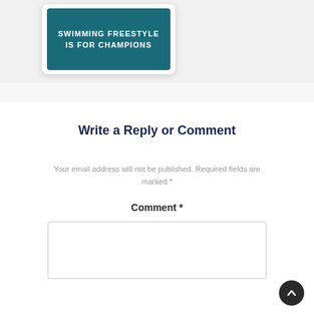[Figure (illustration): Thumbnail image with teal/dark background showing text 'SWIMMING FREESTYLE IS FOR CHAMPIONS' in white uppercase letters, displayed in a card with rounded corners and drop shadow]
Write a Reply or Comment
Your email address will not be published. Required fields are marked *
Comment *
[Figure (screenshot): Empty comment text area input box with light border]